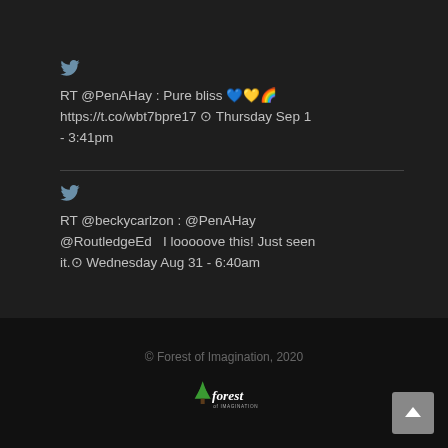RT @PenAHay : Pure bliss 💙💛🌈 https://t.co/wbt7bpre17 ⊙ Thursday Sep 1 - 3:41pm
RT @beckycarlzon : @PenAHay @RoutledgeEd  I looooove this! Just seen it.⊙ Wednesday Aug 31 - 6:40am
© Forest of Imagination, 2020